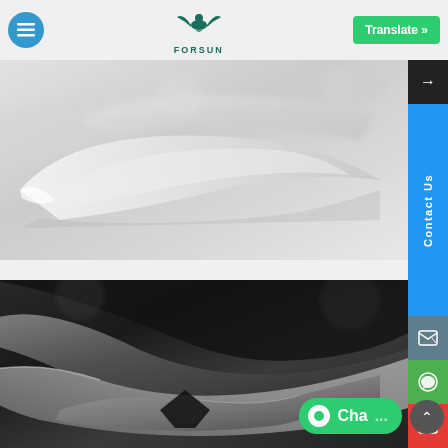Forsun website header with menu button, Forsun logo, and Translate button
[Figure (photo): Close-up photo of white/light grey plastic or ceramic blade-like shapes on a light background, blurred/bokeh style]
[Figure (photo): Close-up photo of dark metallic industrial cutting blades or knives arranged on a dark background, black and white tones]
Contact Us
Cha...
Translate »